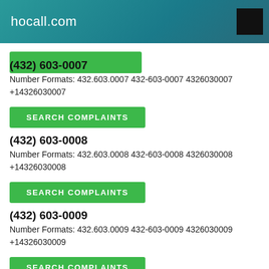hocall.com
(432) 603-0007
Number Formats: 432.603.0007 432-603-0007 4326030007 +14326030007
SEARCH COMPLAINTS
(432) 603-0008
Number Formats: 432.603.0008 432-603-0008 4326030008 +14326030008
SEARCH COMPLAINTS
(432) 603-0009
Number Formats: 432.603.0009 432-603-0009 4326030009 +14326030009
SEARCH COMPLAINTS
(432) 603-0010
Number Formats: 432.603.0010 432-603-0010 4326030010 +14326030010